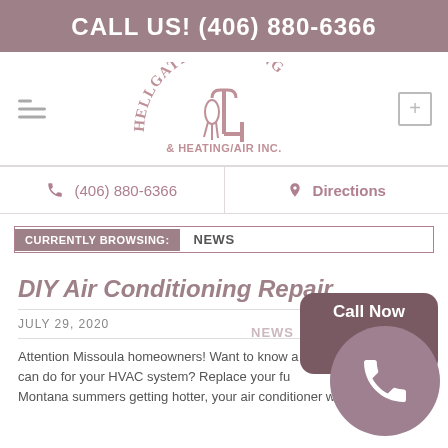CALL US! (406) 880-6366
[Figure (logo): Hellgate Plumbing & Heating/Air Inc. logo with plumbing pipe graphic]
(406) 880-6366
Directions
CURRENTLY BROWSING: NEWS
DIY Air Conditioning Repair
JULY 29, 2020
Attention Missoula homeowners! Want to know a simple tip that you can do for your HVAC system? Replace your furnace filter!! With Montana summers getting hotter, your air conditioner will be